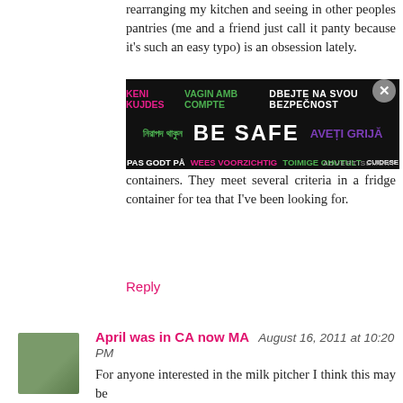rearranging my kitchen and seeing in other peoples pantries (me and a friend just call it panty because it's such an easy typo) is an obsession lately.
[Figure (other): Advertisement overlay with multilingual 'BE SAFE' text in various colors on dark background, with close button]
containers. They meet several criteria in a fridge container for tea that I've been looking for.
Reply
April was in CA now MA  August 16, 2011 at 10:20 PM
For anyone interested in the milk pitcher I think this may be it:                              http://www.containerstore.com/shop?productId=10007345&N=&Ntt=pitcher
Reply
Jill  August 16, 2011 at 10:52 PM
Hey Jen, just have a question. Do your boys help putting things away in your kitchen. I seem to get my kitchen organised and my girls job is to unpack the dishwasher and